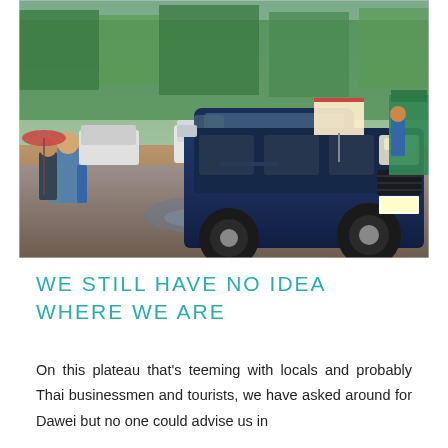[Figure (photo): A blue pickup truck with a hardtop canopy drives on a muddy gravel road. People stand on the left side near wooden posts. Several other vehicles and trees are visible in the background.]
WE STILL HAVE NO IDEA WHERE WE ARE
On this plateau that's teeming with locals and probably Thai businessmen and tourists, we have asked around for Dawei but no one could advise us in